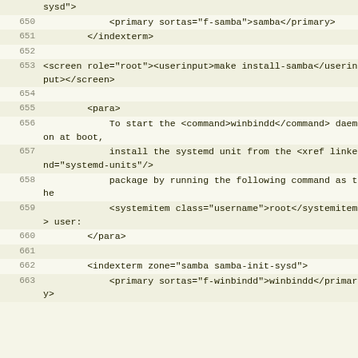sysd">
650    <primary sortas="f-samba">samba</primary>
651        </indexterm>
652
653 <screen role="root"><userinput>make install-samba</userinput></screen>
654
655        <para>
656            To start the <command>winbindd</command> daemon at boot,
657            install the systemd unit from the <xref linkend="systemd-units"/>
658            package by running the following command as the
659            <systemitem class="username">root</systemitem> user:
660        </para>
661
662        <indexterm zone="samba samba-init-sysd">
663            <primary sortas="f-winbindd">winbindd</primary>